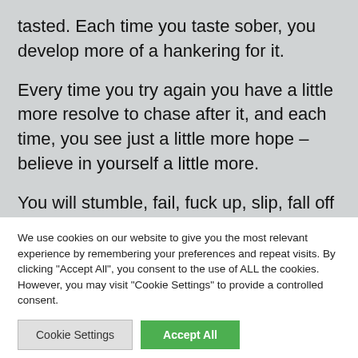tasted. Each time you taste sober, you develop more of a hankering for it.
Every time you try again you have a little more resolve to chase after it, and each time, you see just a little more hope – believe in yourself a little more.
You will stumble, fail, fuck up, slip, fall off the
We use cookies on our website to give you the most relevant experience by remembering your preferences and repeat visits. By clicking "Accept All", you consent to the use of ALL the cookies. However, you may visit "Cookie Settings" to provide a controlled consent.